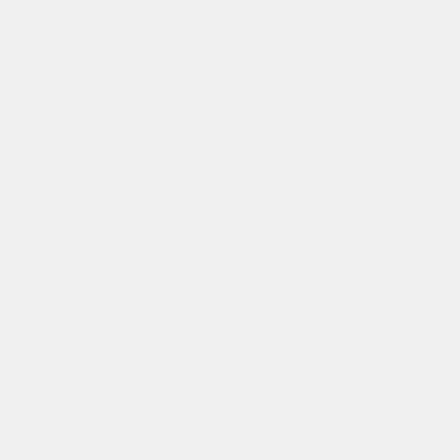FIVETHIRTYEIGHT
[Figure (screenshot): YouTube video thumbnail for 'Meet The Nevada GOP Candi...' featuring two men in suits against an American flag background, with text 'the BIG LIE at the BALLOT BOX'. A red YouTube play button is centered on the thumbnail.]
Each primary week, FiveThirtyEight and ABC News bring
FiveThirtyEight
Tue, June 14, 2022 8:16am
URL: https://www.youtube.com/em
Embed: <iframe src="https://www.yc